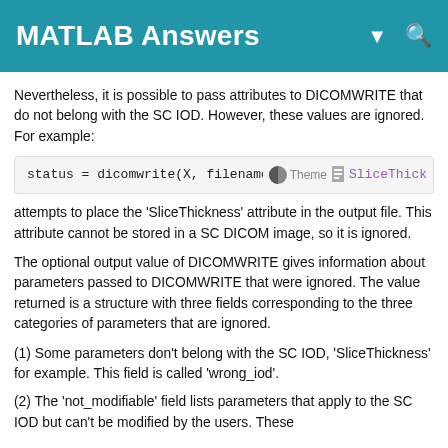MATLAB Answers
Nevertheless, it is possible to pass attributes to DICOMWRITE that do not belong with the SC IOD. However, these values are ignored. For example:
attempts to place the 'SliceThickness' attribute in the output file. This attribute cannot be stored in a SC DICOM image, so it is ignored.
The optional output value of DICOMWRITE gives information about parameters passed to DICOMWRITE that were ignored. The value returned is a structure with three fields corresponding to the three categories of parameters that are ignored.
(1) Some parameters don't belong with the SC IOD, 'SliceThickness' for example. This field is called 'wrong_iod'.
(2) The 'not_modifiable' field lists parameters that apply to the SC IOD but can't be modified by the users. These